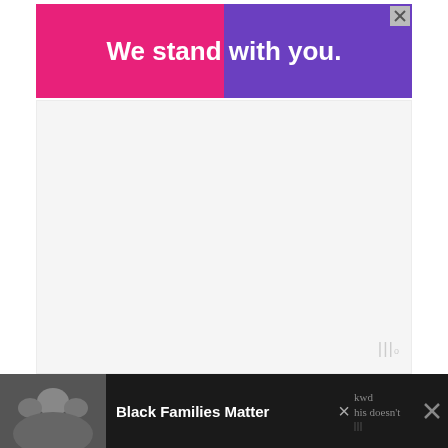[Figure (other): Advertisement banner with pink and purple gradient background reading 'We stand with you.' with a close button in the top right corner]
[Figure (other): Empty advertisement/content placeholder area with Moat watermark logo in the bottom-right corner]
Ghosts have taken over England, but only young people can see and eradicate them in Jonathan Stroud's five-book Lockwood and Co. series. Narrated by 15-year-old Lucy Carlyle, these action-packed books have all the humor and heart of the Harry Potter series, and a good deal of the mystery and suspense as well.
[Figure (other): Bottom advertisement bar on dark background showing a family photo on the left and 'Black Families Matter' text in bold white, with close buttons and moat logo on the right, and partial article text visible]